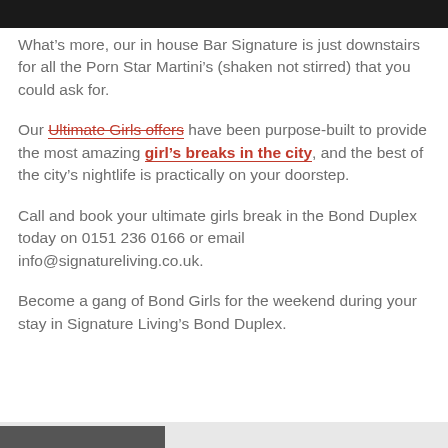[Figure (photo): Dark image at the top of the page, appears to be a night scene]
What's more, our in house Bar Signature is just downstairs for all the Porn Star Martini's (shaken not stirred) that you could ask for.
Our Ultimate Girls offers have been purpose-built to provide the most amazing girl's breaks in the city, and the best of the city's nightlife is practically on your doorstep.
Call and book your ultimate girls break in the Bond Duplex today on 0151 236 0166 or email info@signatureliving.co.uk.
Become a gang of Bond Girls for the weekend during your stay in Signature Living's Bond Duplex.
[Figure (photo): Small partial image visible at the bottom left of the page]